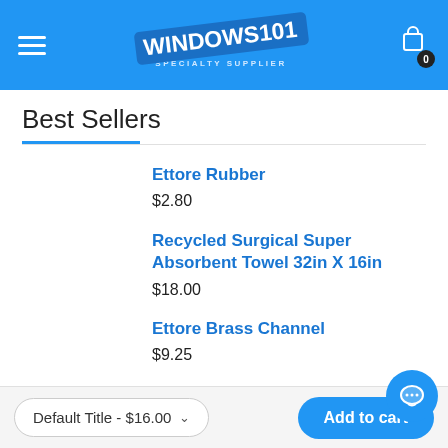WINDOWS101 SPECIALTY SUPPLIER — hamburger menu, cart icon with badge 0
Best Sellers
Ettore Rubber
$2.80
Recycled Surgical Super Absorbent Towel 32in X 16in
$18.00
Ettore Brass Channel
$9.25
Default Title - $16.00   Add to cart